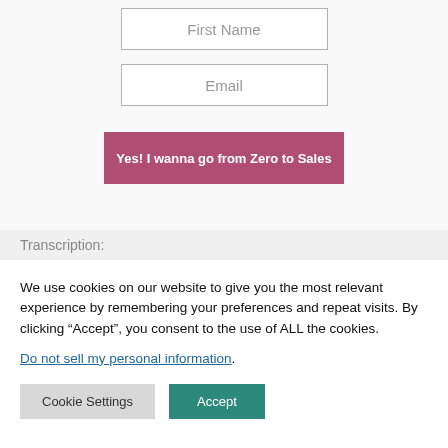[Figure (screenshot): Form input field with placeholder text 'First Name']
[Figure (screenshot): Form input field with placeholder text 'Email']
[Figure (screenshot): Submit button with text 'Yes! I wanna go from Zero to Sales']
Transcription:
We use cookies on our website to give you the most relevant experience by remembering your preferences and repeat visits. By clicking “Accept”, you consent to the use of ALL the cookies.
Do not sell my personal information.
Cookie Settings   Accept